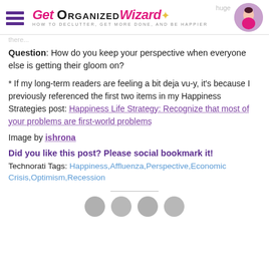Get Organized Wizard – HOW TO DECLUTTER, GET MORE DONE, AND BE HAPPIER
Question: How do you keep your perspective when everyone else is getting their gloom on?
* If my long-term readers are feeling a bit deja vu-y, it's because I previously referenced the first two items in my Happiness Strategies post: Happiness Life Strategy: Recognize that most of your problems are first-world problems
Image by ishrona
Did you like this post? Please social bookmark it!
Technorati Tags: Happiness,Affluenza,Perspective,Economic Crisis,Optimism,Recession